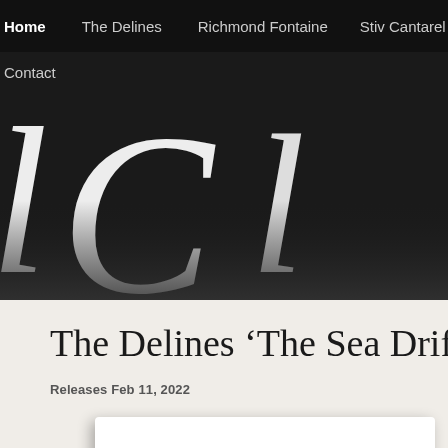Home  The Delines  Richmond Fontaine  Stiv Cantarel
[Figure (illustration): Black background banner with large decorative cursive white script letters forming a partial logo or site title, with 'Contact' link in top-left corner]
The Delines ‘The Sea Drift’
Releases Feb 11, 2022